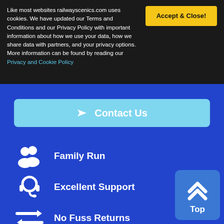Like most websites railwayscenics.com uses cookies. We have updated our Terms and Conditions and our Privacy Policy with important information about how we use your data, how we share data with partners, and your privacy options. More information can be found by reading our Privacy and Cookie Policy
Accept & Close!
Contact Us
Family Run
Excellent Support
No Fuss Returns
Fast Shipping
Secure Ordering
Top